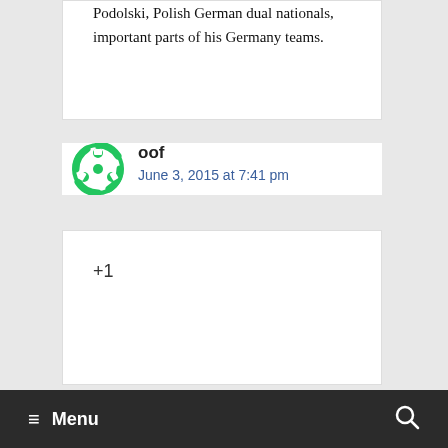Podolski, Polish German dual nationals, important parts of his Germany teams.
oof
June 3, 2015 at 7:41 pm
+1
Menu